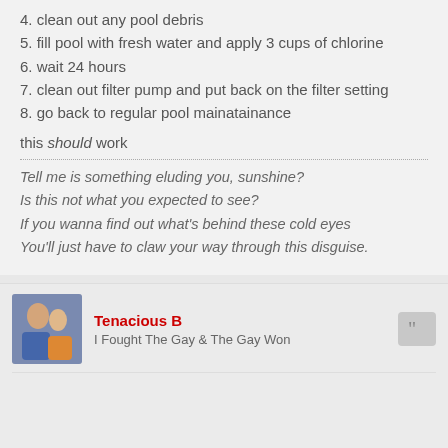4. clean out any pool debris
5. fill pool with fresh water and apply 3 cups of chlorine
6. wait 24 hours
7. clean out filter pump and put back on the filter setting
8. go back to regular pool mainatainance
this should work
Tell me is something eluding you, sunshine?
Is this not what you expected to see?
If you wanna find out what's behind these cold eyes
You'll just have to claw your way through this disguise.
Tenacious B
I Fought The Gay & The Gay Won
November 2, 2005, 8:42 am
Mojo wrote: